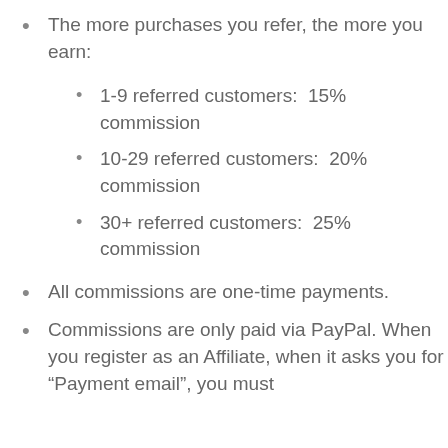The more purchases you refer, the more you earn:
1-9 referred customers:  15% commission
10-29 referred customers:  20% commission
30+ referred customers:  25% commission
All commissions are one-time payments.
Commissions are only paid via PayPal. When you register as an Affiliate, when it asks you for “Payment email”, you must